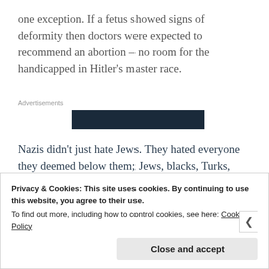one exception. If a fetus showed signs of deformity then doctors were expected to recommend an abortion – no room for the handicapped in Hitler's master race.
Advertisements
[Figure (other): Redacted/blacked-out advertisement image block]
Nazis didn't just hate Jews. They hated everyone they deemed below them; Jews, blacks, Turks,
Privacy & Cookies: This site uses cookies. By continuing to use this website, you agree to their use.
To find out more, including how to control cookies, see here: Cookie Policy
Close and accept